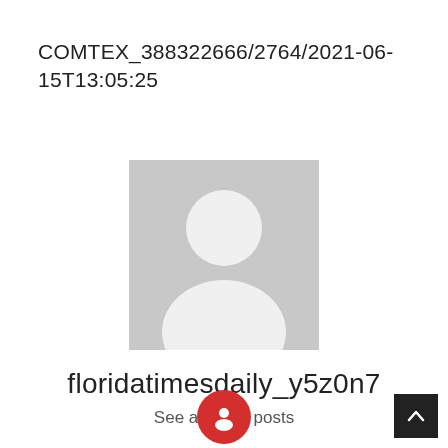COMTEX_388322666/2764/2021-06-15T13:05:25
[Figure (illustration): Generic grey avatar placeholder image showing a white silhouette of a person (head circle and shoulders) on a grey square background]
floridatimesdaily_y5z0n7
See author's posts
[Figure (illustration): Red circular button with a white heart/profile icon]
[Figure (illustration): Dark square back-to-top button with white upward chevron arrow]